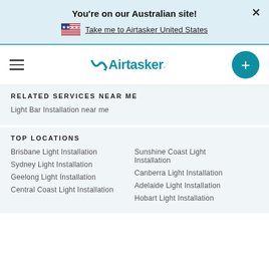You're on our Australian site!
Take me to Airtasker United States
[Figure (logo): Airtasker logo with hamburger menu and plus button]
RELATED SERVICES NEAR ME
Light Bar Installation near me
TOP LOCATIONS
Brisbane Light Installation
Sydney Light Installation
Geelong Light Installation
Central Coast Light Installation
Sunshine Coast Light Installation
Canberra Light Installation
Adelaide Light Installation
Hobart Light Installation